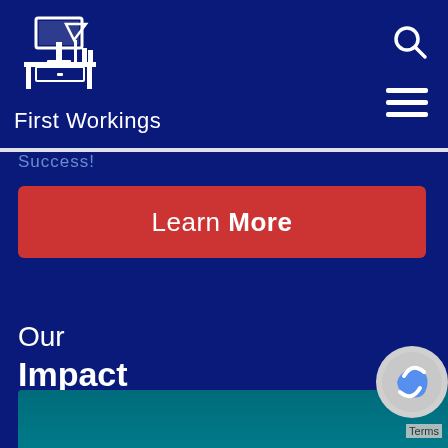[Figure (logo): First Workings logo: white line-art illustration of a desk with a monitor, lamp and books, above the text 'First Workings' in white on a dark navy background.]
Success!
Learn More
Our Impact
[Figure (photo): Partial teal/blue background image at the bottom of the page, partially visible.]
[Figure (logo): Google reCAPTCHA badge in lower right corner, with 'Terms' text.]